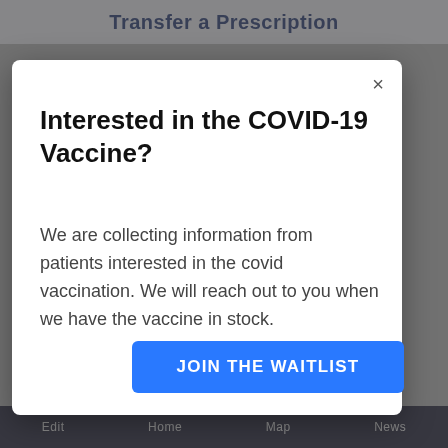Transfer a Prescription
Interested in the COVID-19 Vaccine?
We are collecting information from patients interested in the covid vaccination. We will reach out to you when we have the vaccine in stock.
JOIN THE WAITLIST
Edit   Home   Map   News